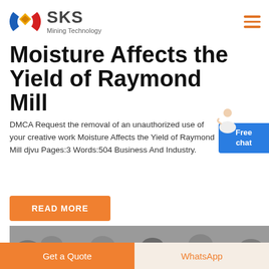SKS Mining Technology
Moisture Affects the Yield of Raymond Mill
DMCA Request the removal of an unauthorized use of your creative work Moisture Affects the Yield of Raymond Mill djvu Pages:3 Words:504 Business And Industry.
[Figure (screenshot): Free chat widget with person icon and blue button]
READ MORE
[Figure (photo): Close-up photo of grey crushed rock/gravel aggregate]
Get a Quote
WhatsApp